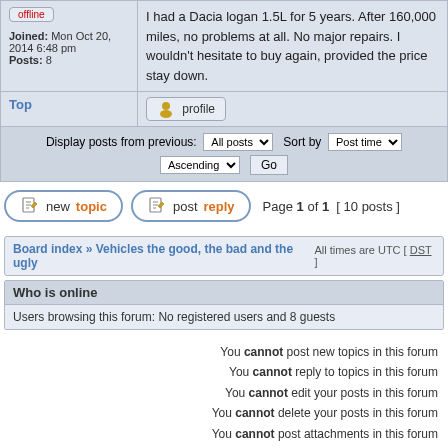| User info | Post content |
| --- | --- |
| offline
Joined: Mon Oct 20, 2014 6:48 pm
Posts: 8 | I had a Dacia logan 1.5L for 5 years. After 160,000 miles, no problems at all. No major repairs. I wouldn't hesitate to buy again, provided the price stay down. |
Top | profile
Display posts from previous: All posts  Sort by Post time  Ascending  Go
new topic  post reply  Page 1 of 1  [ 10 posts ]
Board index » Vehicles the good, the bad and the ugly  All times are UTC [ DST ]
Who is online
Users browsing this forum: No registered users and 8 guests
You cannot post new topics in this forum
You cannot reply to topics in this forum
You cannot edit your posts in this forum
You cannot delete your posts in this forum
You cannot post attachments in this forum
Jump to: Vehicles the good, the bad and the ugly  Go
Powered by phpBB® Forum Software © phpBB Group